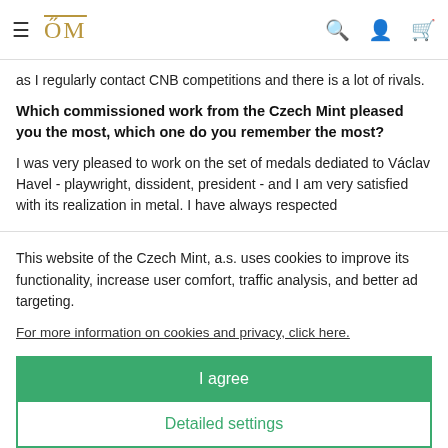≡ CM [logo]  🔍 👤 🛒
as I regularly contact CNB competitions and there is a lot of rivals.
Which commissioned work from the Czech Mint pleased you the most, which one do you remember the most?
I was very pleased to work on the set of medals dediated to Václav Havel - playwright, dissident, president - and I am very satisfied with its realization in metal. I have always respected
This website of the Czech Mint, a.s. uses cookies to improve its functionality, increase user comfort, traffic analysis, and better ad targeting.
For more information on cookies and privacy, click here.
I agree
Detailed settings